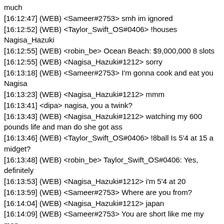much
[16:12:47] (WEB) <Sameer#2753> smh im ignored
[16:12:52] (WEB) <Taylor_Swift_OS#0406> !houses Nagisa_Hazuki
[16:12:55] (WEB) <robin_be> Ocean Beach: $9,000,000 8 slots
[16:12:55] (WEB) <Nagisa_Hazuki#1212> sorry
[16:13:18] (WEB) <Sameer#2753> I'm gonna cook and eat you Nagisa
[16:13:23] (WEB) <Nagisa_Hazuki#1212> mmm
[16:13:41] <dipa> nagisa, you a twink?
[16:13:43] (WEB) <Nagisa_Hazuki#1212> watching my 600 pounds life and man do she got ass
[16:13:46] (WEB) <Taylor_Swift_OS#0406> !8ball Is 5'4 at 15 a midget?
[16:13:48] (WEB) <robin_be> Taylor_Swift_OS#0406: Yes, definitely
[16:13:53] (WEB) <Nagisa_Hazuki#1212> i'm 5'4 at 20
[16:13:59] (WEB) <Sameer#2753> Where are you from?
[16:14:04] (WEB) <Nagisa_Hazuki#1212> japan
[16:14:09] (WEB) <Sameer#2753> You are short like me my man
[16:14:19] (WEB) <Nagisa_Hazuki#1212> sameer you are wrecking the car
[16:14:19] (WEB) <Taylor_Swift_OS#0406> You're 5'4?
[16:14:24] (WEB) <Sameer#2753> yeah i am
[16:14:26] (WEB) <Nagisa_Hazuki#1212> yes
[16:14:33] (WEB) <Sameer#2753> It's okay f...